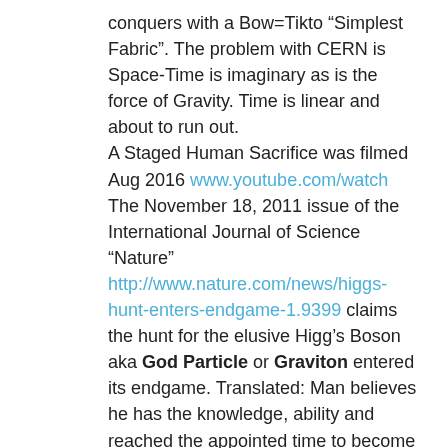conquers with a Bow=Tikto “Simplest Fabric”. The problem with CERN is Space-Time is imaginary as is the force of Gravity. Time is linear and about to run out.
A Staged Human Sacrifice was filmed Aug 2016 www.youtube.com/watch The November 18, 2011 issue of the International Journal of Science “Nature” http://www.nature.com/news/higgs-hunt-enters-endgame-1.9399 claims the hunt for the elusive Higg’s Boson aka God Particle or Graviton entered its endgame. Translated: Man believes he has the knowledge, ability and reached the appointed time to become a God.
On July 4, 2012 CERN announced 99.99% proof of the God Particle aka “Graviton” as the source for the magical Force of Gravity. The mass-less force carrier “God Particle” not only gives Mass to Matter but Order to the Universe and is literally built from Nothing..